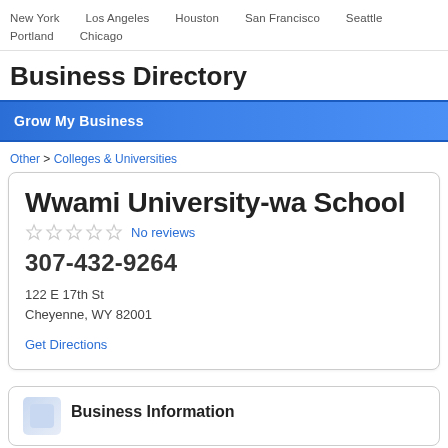New York   Los Angeles   Houston   San Francisco   Seattle   Portland   Chicago
Business Directory
Grow My Business
Other > Colleges & Universities
Wwami University-wa School
No reviews
307-432-9264
122 E 17th St
Cheyenne, WY 82001
Get Directions
Business Information